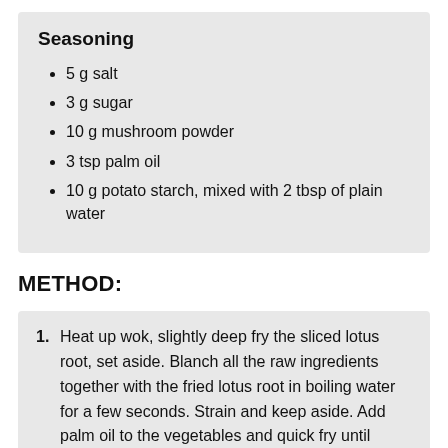Seasoning
5 g salt
3 g sugar
10 g mushroom powder
3 tsp palm oil
10 g potato starch, mixed with 2 tbsp of plain water
METHOD:
Heat up wok, slightly deep fry the sliced lotus root, set aside. Blanch all the raw ingredients together with the fried lotus root in boiling water for a few seconds. Strain and keep aside. Add palm oil to the vegetables and quick fry until fragrant. Add the seasoning